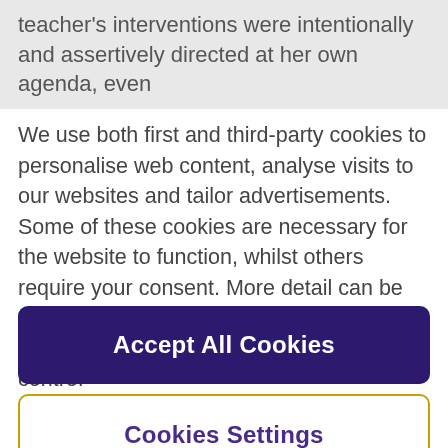teacher's interventions were intentionally and assertively directed at her own agenda, even
We use both first and third-party cookies to personalise web content, analyse visits to our websites and tailor advertisements. Some of these cookies are necessary for the website to function, whilst others require your consent. More detail can be found in our cookie policy and you can tailor your choices in the preference centre.
Accept All Cookies
Cookies Settings